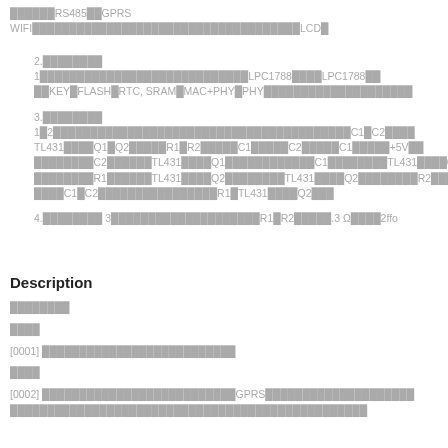██████RS485██GPRS WIFI████████████████████████LCD█
2.████████ 1████████████████████████LPC1788████LPC1788████KEY█FLASH█RTC, SRAM█MAC+PHY█PHY████████████████
3.████████ 1█2████████████████████████████████C1█C2████TL431████Q1█Q2█████R1█R2█████C1█████C2█████C1█████+5V███████████C2██████TL431████Q1████████████C1████████TL431████Q1████████R1██████TL431████Q2████████TL431████Q2████████R2████████████C1█C2████████████████R1█TL431████Q2███
4.████████ 3████████████████████R1█R2█████.3 Ω████2ffo
Description
████████
████
[0001] ██████████████████████████
████
[0002] ██████████████████████████GPRS████████████████████████████████████████████████████